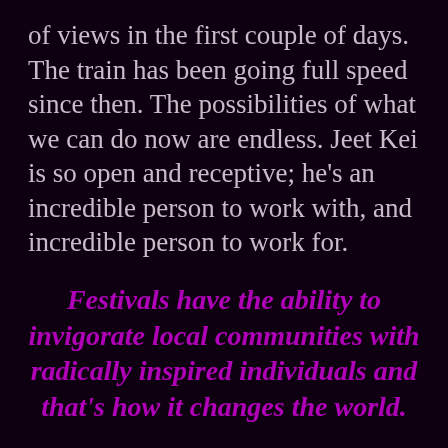of views in the first couple of days. The train has been going full speed since then. The possibilities of what we can do now are endless. Jeet Kei is so open and receptive; he's an incredible person to work with, and incredible person to work for.
Festivals have the ability to invigorate local communities with radically inspired individuals and that's how it changes the world.
I think that we as festival culture are embassadors, pioneers. I'm such a Bucky